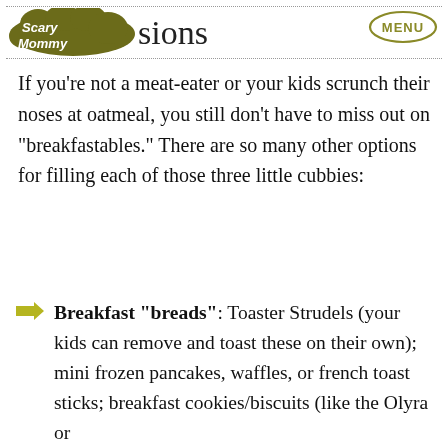[Figure (logo): Scary Mommy logo - olive/dark yellow-green stylized text logo with cloud shape]
sions
[Figure (other): MENU button - oval outlined button with MENU text in olive color]
If you’re not a meat-eater or your kids scrunch their noses at oatmeal, you still don’t have to miss out on “breakfastables.” There are so many other options for filling each of those three little cubbies:
Breakfast “breads”: Toaster Strudels (your kids can remove and toast these on their own); mini frozen pancakes, waffles, or french toast sticks; breakfast cookies/biscuits (like the Olyra or